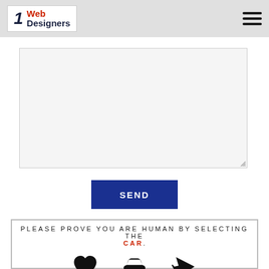1 Web Designers
[Figure (other): Large text input/textarea field with resize handle]
SEND
PLEASE PROVE YOU ARE HUMAN BY SELECTING THE CAR.
[Figure (other): Three icons: heart, car, airplane for CAPTCHA selection]